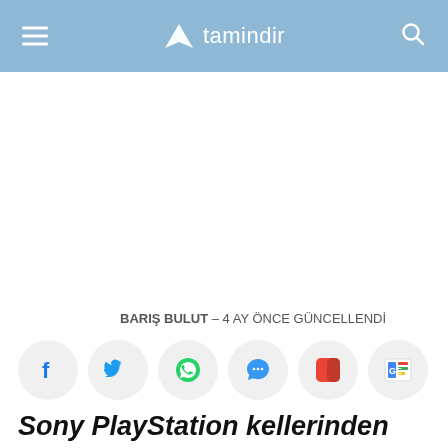tamindir
BARIŞ BULUT – 4 AY ÖNCE GÜNCELLENDİ
[Figure (other): Row of social media share icons: Facebook, Twitter, WhatsApp, Messages/Chat, Pinterest/Instapaper, Google News]
Sony PlayStation kellerinden re...